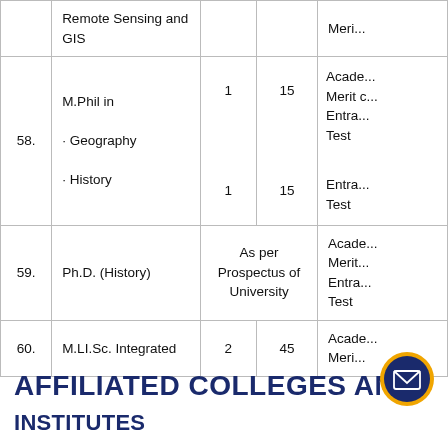| No. | Programme | Seats | Intake | Basis of Admission |
| --- | --- | --- | --- | --- |
|  | Remote Sensing and GIS |  |  | Meri... |
| 58. | M.Phil in · Geography
· History | 1
1 | 15
15 | Academic Merit cum Entrance Test
Entrance Test |
| 59. | Ph.D. (History) | As per Prospectus of University |  | Academic Merit Entrance Test |
| 60. | M.LI.Sc. Integrated | 2 | 45 | Academic Meri... |
AFFILIATED COLLEGES AND INSTITUTES